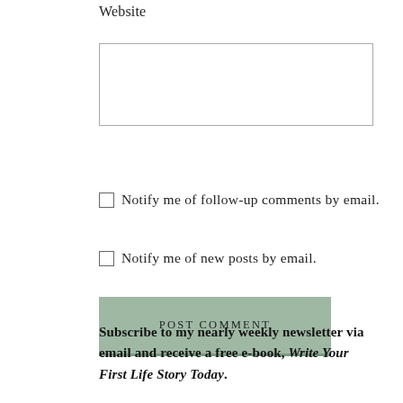Website
Notify me of follow-up comments by email.
Notify me of new posts by email.
POST COMMENT
Subscribe to my nearly weekly newsletter via email and receive a free e-book, Write Your First Life Story Today.